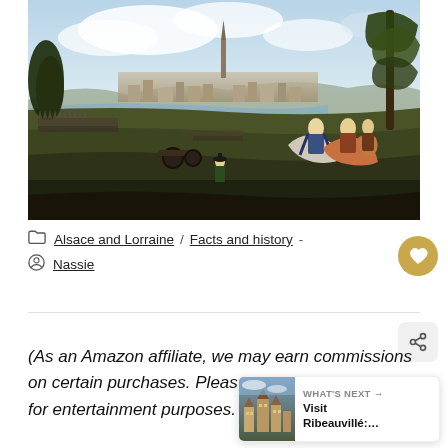[Figure (illustration): Historical oil painting depicting a battle scene with soldiers, cavalry officers on horseback on the right foreground, troops marching in the middle ground, trees on the far right, and a city with a tall church spire visible in the background under a partly cloudy sky.]
Alsace and Lorraine / Facts and history - Nassie
(As an Amazon affiliate, we may earn commissions on certain purchases. Please note, info provided is for entertainment purposes. See our